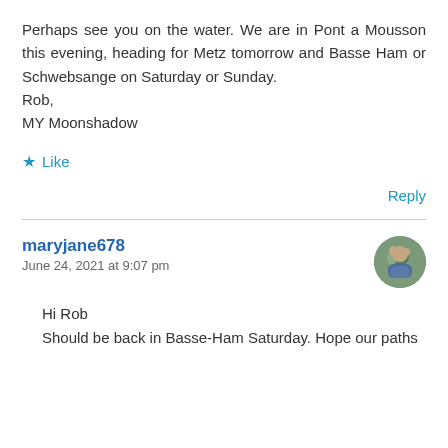Perhaps see you on the water. We are in Pont a Mousson this evening, heading for Metz tomorrow and Basse Ham or Schwebsange on Saturday or Sunday.
Rob,
MY Moonshadow
★ Like
Reply
maryjane678
June 24, 2021 at 9:07 pm
[Figure (photo): Circular avatar photo of a person outdoors]
Hi Rob
Should be back in Basse-Ham Saturday. Hope our paths